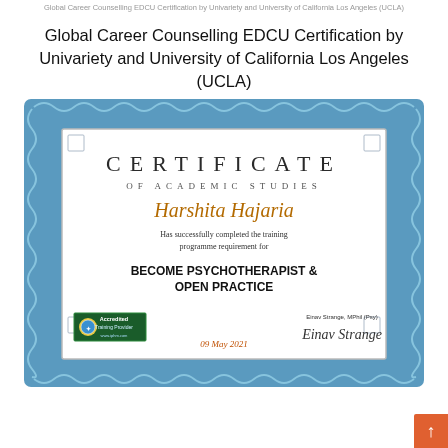Global Career Counselling EDCU Certification by Univariety and University of California Los Angeles (UCLA)
Global Career Counselling EDCU Certification by Univariety and University of California Los Angeles (UCLA)
[Figure (illustration): Certificate of Academic Studies awarded to Harshita Hajaria for completing Become Psychotherapist & Open Practice training programme, dated 09 May 2021, signed by Einav Strange, MPhil (Psy), with Accredited Training Provider badge.]